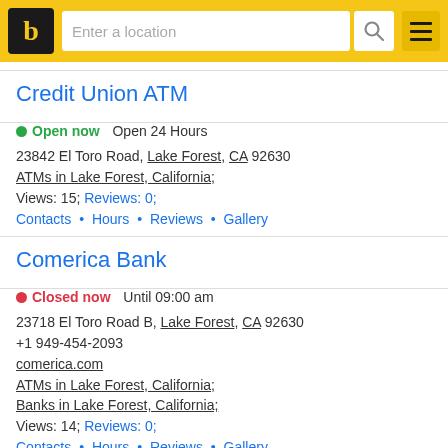b [logo] | Enter a location [search] [menu]
Credit Union ATM
● Open now   Open 24 Hours
23842 El Toro Road, Lake Forest, CA 92630
ATMs in Lake Forest, California;
Views: 15; Reviews: 0;
Contacts • Hours • Reviews • Gallery
Comerica Bank
● Closed now   Until 09:00 am
23718 El Toro Road B, Lake Forest, CA 92630
+1 949-454-2093
comerica.com
ATMs in Lake Forest, California;
Banks in Lake Forest, California;
Views: 14; Reviews: 0;
Contacts • Hours • Reviews • Gallery